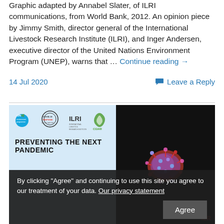Graphic adapted by Annabel Slater, of ILRI communications, from World Bank, 2012. An opinion piece by Jimmy Smith, director general of the International Livestock Research Institute (ILRI), and Inger Andersen, executive director of the United Nations Environment Program (UNEP), warns that … Continue reading →
14 Jul 2020
Leave a Reply
[Figure (screenshot): Screenshot showing a webpage image with logos of UN Environment Programme, COVID-19 Response, ILRI (International Livestock Research Institute), and CGIAR. Text reads 'PREVENTING THE NEXT PANDEMIC'. Right half shows a dark background with a pink/purple virus illustration. A cookie consent overlay reads: 'By clicking "Agree" and continuing to use this site you agree to our treatment of your data. Our privacy statement' with an 'Agree' button. ILRI watermark in red at bottom right.]